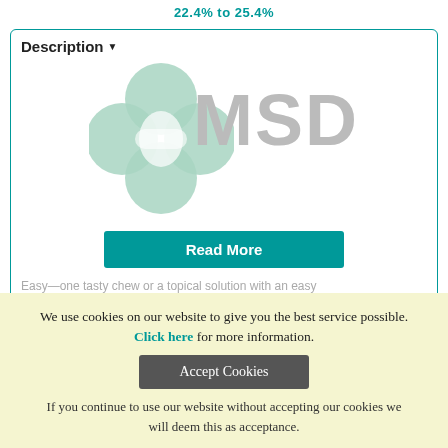22.4% to 25.4%
Description ▼
[Figure (logo): MSD logo with teal flower/petal graphic and grey MSD text, with a teal 'Read More' button overlay]
Easy—one tasty chew or a topical solution with an easy To...
Medication Datasheets ▼
We use cookies on our website to give you the best service possible. Click here for more information.
If you continue to use our website without accepting our cookies we will deem this as acceptance.